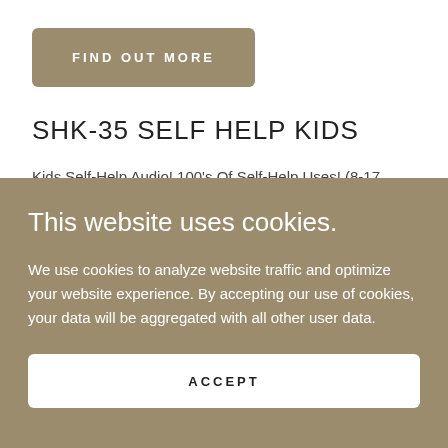FIND OUT MORE
SHK-35 SELF HELP KIDS
Kids Self-Help Audio! 100's Of Self-Help Uses! (8-17 Years)  Go Beyond Normal  Improve Attitude, Grades
This website uses cookies.
We use cookies to analyze website traffic and optimize your website experience. By accepting our use of cookies, your data will be aggregated with all other user data.
ACCEPT